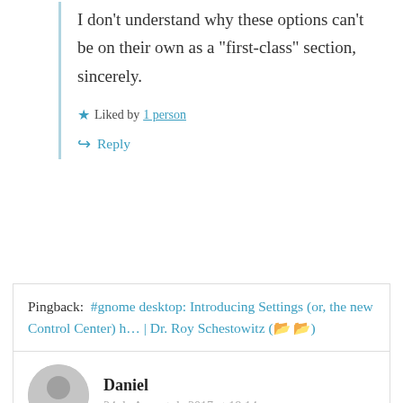I don’t understand why these options can’t be on their own as a “first-class” section, sincerely.
★ Liked by 1 person
↵ Reply
Pingback: #gnome desktop: Introducing Settings (or, the new Control Center) h… | Dr. Roy Schestowitz (📂📂)
Daniel
24 de August de 2017 at 18:14